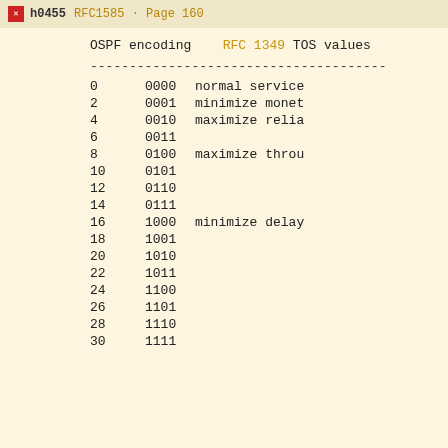RFC1583 · RFC1583 · Page 160
| OSPF encoding | RFC 1349 TOS values |  |
| --- | --- | --- |
| 0 | 0000 | normal service |
| 2 | 0001 | minimize monet… |
| 4 | 0010 | maximize relia… |
| 6 | 0011 |  |
| 8 | 0100 | maximize throu… |
| 10 | 0101 |  |
| 12 | 0110 |  |
| 14 | 0111 |  |
| 16 | 1000 | minimize delay |
| 18 | 1001 |  |
| 20 | 1010 |  |
| 22 | 1011 |  |
| 24 | 1100 |  |
| 26 | 1101 |  |
| 28 | 1110 |  |
| 30 | 1111 |  |